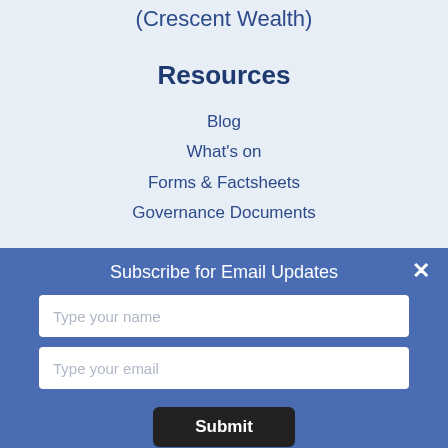(Crescent Wealth)
Resources
Blog
What's on
Forms & Factsheets
Governance Documents
Subscribe for Email Updates
Type your name
Type your email
Submit